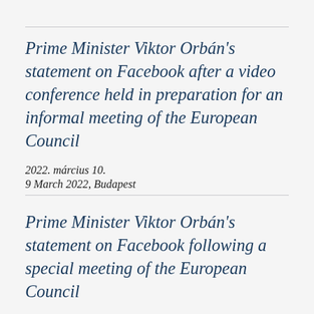Prime Minister Viktor Orbán's statement on Facebook after a video conference held in preparation for an informal meeting of the European Council
2022. március 10.
9 March 2022, Budapest
Prime Minister Viktor Orbán's statement on Facebook following a special meeting of the European Council